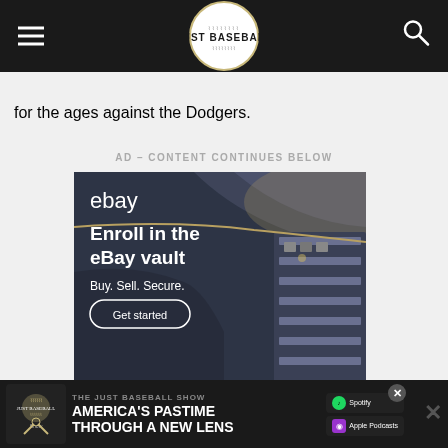[Figure (logo): Just Baseball website header with hamburger menu, logo, and search icon on dark background]
for the ages against the Dodgers.
AD – CONTENT CONTINUES BELOW
[Figure (screenshot): eBay advertisement: Enroll in the eBay vault. Buy. Sell. Secure. Get started button. Dark background with interior vault imagery.]
[Figure (screenshot): The Just Baseball Show promotional banner: America's Pastime Through a New Lens, with Spotify and Apple Podcasts icons]